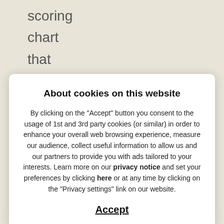scoring
chart
that
resulted
from
this
About cookies on this website
By clicking on the "Accept" button you consent to the usage of 1st and 3rd party cookies (or similar) in order to enhance your overall web browsing experience, measure our audience, collect useful information to allow us and our partners to provide you with ads tailored to your interests. Learn more on our privacy notice and set your preferences by clicking here or at any time by clicking on the "Privacy settings" link on our website.
Accept